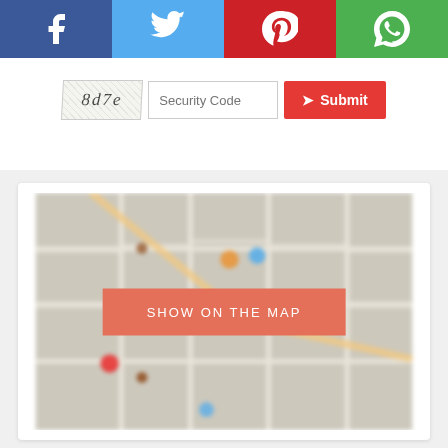[Figure (other): Social sharing bar with four buttons: Facebook (dark blue), Twitter (light blue), Pinterest (red), WhatsApp (green), each with white icon]
[Figure (other): Partial form strip showing a CAPTCHA image with text '8d7e', a Security Code input field, and a red Submit button]
[Figure (map): Blurred street map image with a red 'SHOW ON THE MAP' button overlaid in the center]